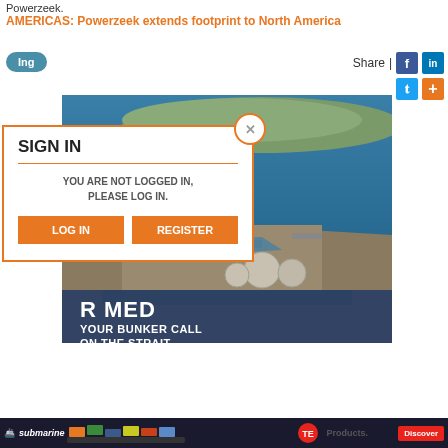Powerzeek.
AMERICAS: Powerzeek extends footprint to North America
Ing
Share | [Facebook] [LinkedIn] [Twitter] [+]
[Figure (photo): Aerial photo of a port and strait of Gibraltar with harbor infrastructure and water]
[Figure (screenshot): Sign-in modal dialog with orange border. Title: SIGN IN. Message: YOU ARE NOT LOGGED IN, PLEASE LOG IN. Two buttons: LOG IN and REGISTER. Close X button at top right.]
[Figure (infographic): Bottom advertisement bar with Submarine logo, ship image, Total Energies logo and Discover button]